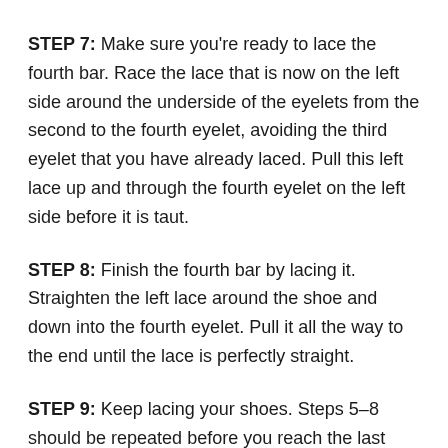STEP 7: Make sure you're ready to lace the fourth bar. Race the lace that is now on the left side around the underside of the eyelets from the second to the fourth eyelet, avoiding the third eyelet that you have already laced. Pull this left lace up and through the fourth eyelet on the left side before it is taut.
STEP 8: Finish the fourth bar by lacing it. Straighten the left lace around the shoe and down into the fourth eyelet. Pull it all the way to the end until the lace is perfectly straight.
STEP 9: Keep lacing your shoes. Steps 5–8 should be repeated before you reach the last eyelet closest to you. Remember that any time you run the lace under